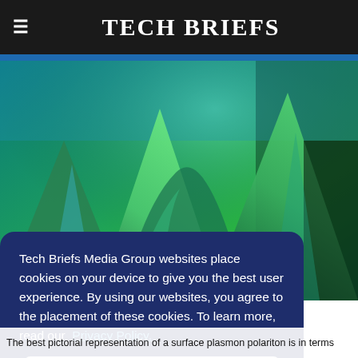Tech Briefs
[Figure (photo): Close-up macro photo of pointed green and teal leaf-like or crystal-like structures with blue and green lighting, resembling surface plasmon polariton visualization]
Tech Briefs Media Group websites place cookies on your device to give you the best user experience. By using our websites, you agree to the placement of these cookies. To learn more, read our Privacy Policy.
Accept & Continue
The best pictorial representation of a surface plasmon polariton is in terms